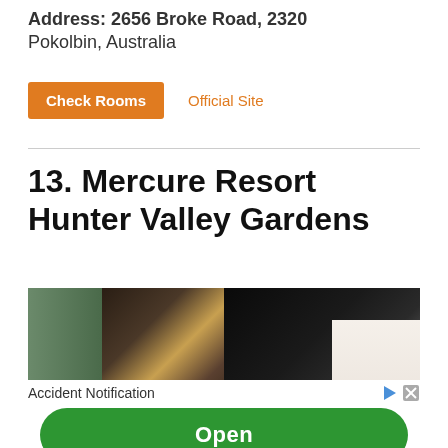Address: 2656 Broke Road, 2320 Pokolbin, Australia
Check Rooms   Official Site
13. Mercure Resort Hunter Valley Gardens
[Figure (photo): Two hotel room photos side by side: left shows a bedroom with warm lighting and headboard, right shows a modern bathroom with dark stone wall and mirror.]
Accident Notification
Open
Ad